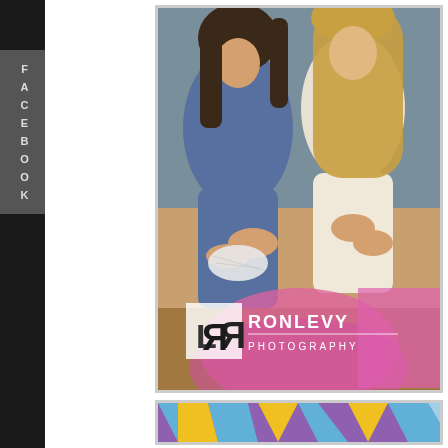[Figure (other): Facebook sidebar tab with letters F A C E B O O K written vertically on a dark gray rounded tab against a black left sidebar]
[Figure (photo): Photograph of young girls sitting in auditorium chairs, clapping or holding items, wearing casual clothes including a denim jacket. Foreground is blurred with pink color. Ron Levy Photography watermark logo in lower center of image.]
[Figure (photo): Partial bottom photograph showing a colorful geometric pattern in blue, yellow, and purple colors, partially visible at the bottom of the page.]